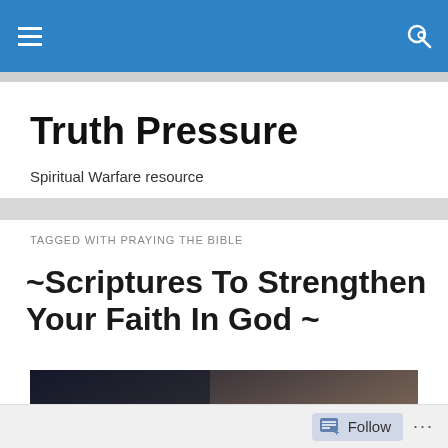Truth Pressure — site navigation bar
Truth Pressure
Spiritual Warfare resource
TAGGED WITH PRAYING THE BIBLE
~Scriptures To Strengthen Your Faith In God ~
[Figure (photo): Image of hands holding a Bible with overlay text reading 'Strenghten Your Faith' on a dark gradient background]
Follow   ...